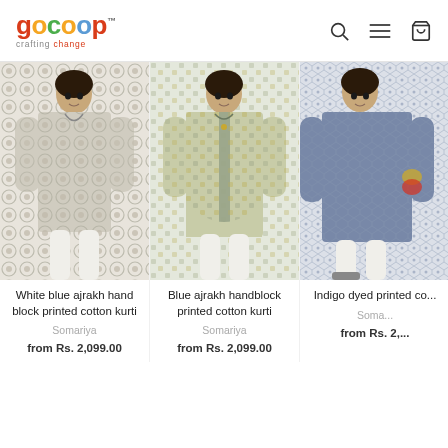gocoop crafting change — navigation header with search, menu, and cart icons
[Figure (photo): Woman wearing white blue ajrakh hand block printed cotton kurti]
White blue ajrakh hand block printed cotton kurti
Somariya
from Rs. 2,099.00
[Figure (photo): Woman wearing blue ajrakh handblock printed cotton kurti]
Blue ajrakh handblock printed cotton kurti
Somariya
from Rs. 2,099.00
[Figure (photo): Woman wearing indigo dyed printed cotton kurti (partially visible)]
Indigo dyed printed co...
Soma...
from Rs. 2,...